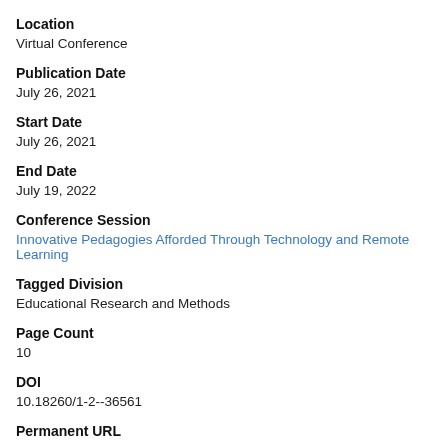Location
Virtual Conference
Publication Date
July 26, 2021
Start Date
July 26, 2021
End Date
July 19, 2022
Conference Session
Innovative Pedagogies Afforded Through Technology and Remote Learning
Tagged Division
Educational Research and Methods
Page Count
10
DOI
10.18260/1-2--36561
Permanent URL